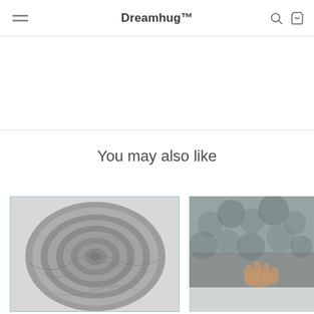Dreamhug™
You may also like
[Figure (photo): Rolled gray weighted blanket shown from above, tightly rolled into a spiral shape]
[Figure (photo): Partial view of a fluffy gray blanket or throw with a hand visible, person relaxing on a couch]
DreamHug